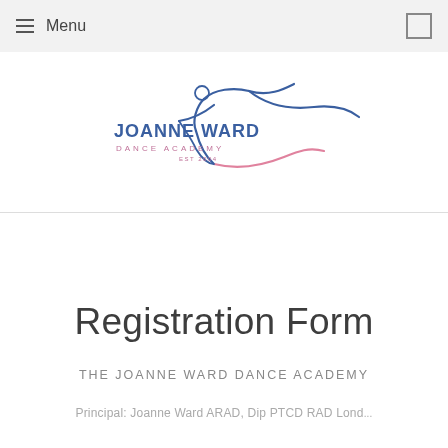Menu
[Figure (logo): Joanne Ward Dance Academy logo with a stylized dancer figure in blue and pink lines, text reading JOANNE WARD DANCE ACADEMY EST 2004]
Registration Form
THE JOANNE WARD DANCE ACADEMY
Principal: Joanne Ward ARAD, Dip PTCD RAD Lond...